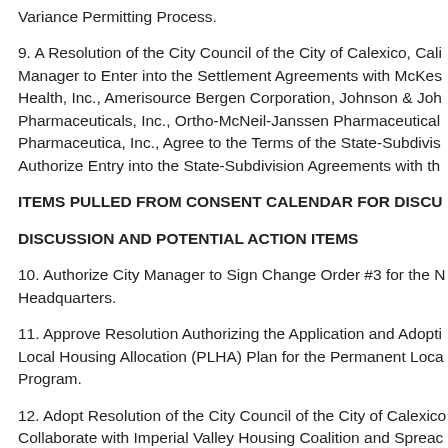Variance Permitting Process.
9. A Resolution of the City Council of the City of Calexico, Cali Manager to Enter into the Settlement Agreements with McKes Health, Inc., Amerisource Bergen Corporation, Johnson & Joh Pharmaceuticals, Inc., Ortho-McNeil-Janssen Pharmaceutical Pharmaceutica, Inc., Agree to the Terms of the State-Subdivis Authorize Entry into the State-Subdivision Agreements with th
ITEMS PULLED FROM CONSENT CALENDAR FOR DISCU
DISCUSSION AND POTENTIAL ACTION ITEMS
10. Authorize City Manager to Sign Change Order #3 for the N Headquarters.
11. Approve Resolution Authorizing the Application and Adopti Local Housing Allocation (PLHA) Plan for the Permanent Loca Program.
12. Adopt Resolution of the City Council of the City of Calexico Collaborate with Imperial Valley Housing Coalition and Spreac the Potential Development of New Residential Affordable Hou City of Calexico.